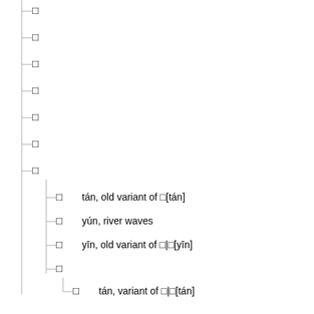□
□
□
□
□
□
□
□  tán, old variant of □[tán]
□  yún, river waves
□  yīn, old variant of □|□[yīn]
□
□  tán, variant of □|□[tán]
□
□
□
□
□